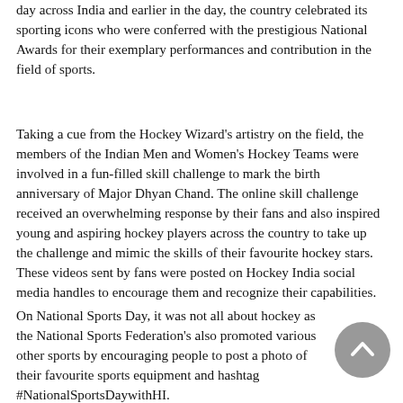day across India and earlier in the day, the country celebrated its sporting icons who were conferred with the prestigious National Awards for their exemplary performances and contribution in the field of sports.
Taking a cue from the Hockey Wizard's artistry on the field, the members of the Indian Men and Women's Hockey Teams were involved in a fun-filled skill challenge to mark the birth anniversary of Major Dhyan Chand. The online skill challenge received an overwhelming response by their fans and also inspired young and aspiring hockey players across the country to take up the challenge and mimic the skills of their favourite hockey stars. These videos sent by fans were posted on Hockey India social media handles to encourage them and recognize their capabilities.
On National Sports Day, it was not all about hockey as the National Sports Federation's also promoted various other sports by encouraging people to post a photo of their favourite sports equipment and hashtag #NationalSportsDaywithHI.